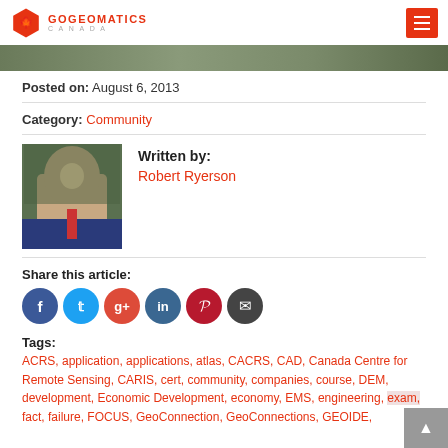GoGeomatics Canada
[Figure (photo): Hero image strip at top of article page]
Posted on: August 6, 2013
Category: Community
[Figure (photo): Portrait photo of Robert Ryerson, a man in a dark suit with a red tie, outdoors with green foliage background]
Written by: Robert Ryerson
Share this article:
Tags: ACRS, application, applications, atlas, CACRS, CAD, Canada Centre for Remote Sensing, CARIS, cert, community, companies, course, DEM, development, Economic Development, economy, EMS, engineering, exam, fact, failure, FOCUS, GeoConnection, GeoConnections, GEOIDE,